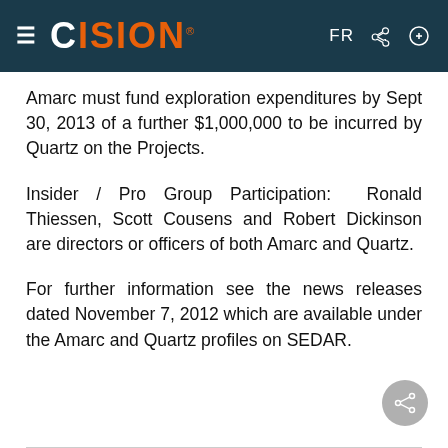CISION — FR
Amarc must fund exploration expenditures by Sept 30, 2013 of a further $1,000,000 to be incurred by Quartz on the Projects.
Insider / Pro Group Participation: Ronald Thiessen, Scott Cousens and Robert Dickinson are directors or officers of both Amarc and Quartz.
For further information see the news releases dated November 7, 2012 which are available under the Amarc and Quartz profiles on SEDAR.